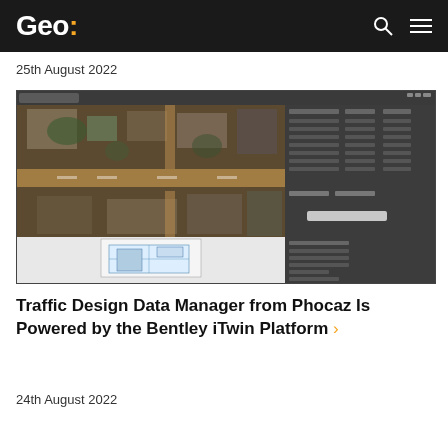Geo:
25th August 2022
[Figure (screenshot): Screenshot of a GIS/traffic engineering software application showing an aerial satellite view of a road intersection with a data panel on the right side and a floor plan overlay at the bottom center.]
Traffic Design Data Manager from Phocaz Is Powered by the Bentley iTwin Platform
24th August 2022